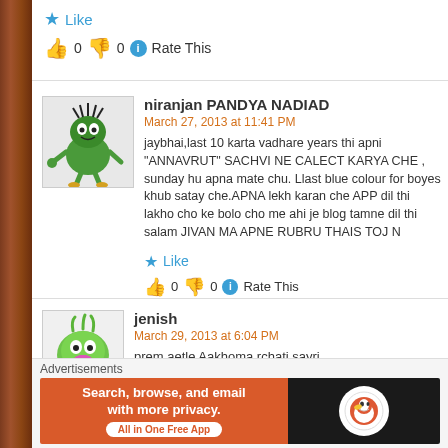Like
👍 0 👎 0 ℹ Rate This
niranjan PANDYA NADIAD
March 27, 2013 at 11:41 PM
jaybhai,last 10 karta vadhare years thi apni "ANNAVRUT" SACHVI NE CALECT KARYA CHE , sunday hu apna mate chu. Llast blue colour for boyes khub satay che.APNA lekh karan che APP dil thi lakho cho ke bolo cho me ahi je blog tamne dil thi salam JIVAN MA APNE RUBRU THAIS TOJ N
Like
👍 0 👎 0 ℹ Rate This
jenish
March 29, 2013 at 6:04 PM
prem aetle Aakhoma rchati sayri.
Advertisements
[Figure (infographic): DuckDuckGo advertisement banner: orange background on left with text 'Search, browse, and email with more privacy. All in One Free App', dark background on right with DuckDuckGo logo]